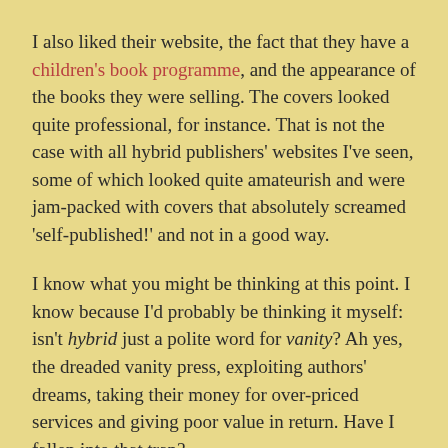I also liked their website, the fact that they have a children's book programme, and the appearance of the books they were selling. The covers looked quite professional, for instance. That is not the case with all hybrid publishers' websites I've seen, some of which looked quite amateurish and were jam-packed with covers that absolutely screamed 'self-published!' and not in a good way.
I know what you might be thinking at this point. I know because I'd probably be thinking it myself: isn't hybrid just a polite word for vanity? Ah yes, the dreaded vanity press, exploiting authors' dreams, taking their money for over-priced services and giving poor value in return. Have I fallen into that trap?